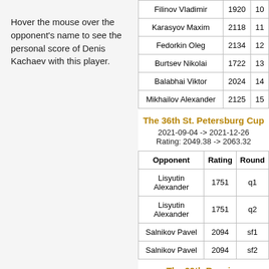Hover the mouse over the opponent's name to see the personal score of Denis Kachaev with this player.
| Filinov Vladimir | 1920 | 10 |
| Karasyov Maxim | 2118 | 11 |
| Fedorkin Oleg | 2134 | 12 |
| Burtsev Nikolai | 1722 | 13 |
| Balabhai Viktor | 2024 | 14 |
| Mikhailov Alexander | 2125 | 15 |
The 36th St. Petersburg Cup
2021-09-04 -> 2021-12-26
Rating: 2049.38 -> 2063.32
| Opponent | Rating | Round |
| --- | --- | --- |
| Lisyutin Alexander | 1751 | q1 |
| Lisyutin Alexander | 1751 | q2 |
| Salnikov Pavel | 2094 | sf1 |
| Salnikov Pavel | 2094 | sf2 |
The 29th Russian